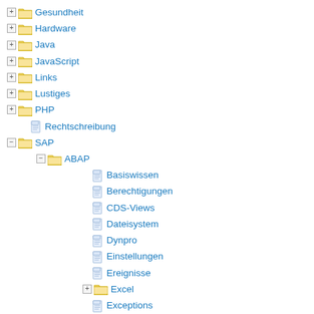Gesundheit
Hardware
Java
JavaScript
Links
Lustiges
PHP
Rechtschreibung
SAP
ABAP
Basiswissen
Berechtigungen
CDS-Views
Dateisystem
Dynpro
Einstellungen
Ereignisse
Excel
Exceptions
Formulare
Funktionsbausteine
Grafik
GUI
Container
Dynamische Dokumente (DD)